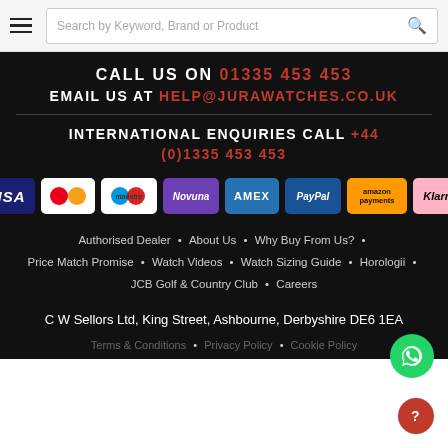Search by Keyword, Brand or Product
CALL US ON 01335 453 453
EMAIL US AT HELP@JURAWATCHES.CO.UK
INTERNATIONAL ENQUIRIES CALL +44 (0)1335 453 453
[Figure (logo): Payment method logos: VISA, MasterCard, Maestro, Novuna, AMEX, PayPal, Amazon Payments, Klarna]
Authorised Dealer • About Us • Why Buy From Us? • Price Match Promise • Watch Videos • Watch Sizing Guide • Horologii • JCB Golf & Country Club • Careers
C W Sellors Ltd, King Street, Ashbourne, Derbyshire DE6 1EA
Terms & Conditions • Privacy Policy • Cookie Policy